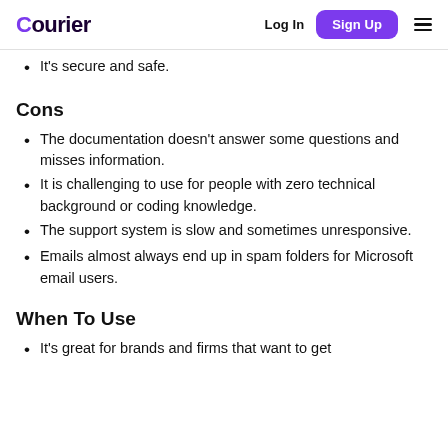Courier  Log In  Sign Up
It's secure and safe.
Cons
The documentation doesn't answer some questions and misses information.
It is challenging to use for people with zero technical background or coding knowledge.
The support system is slow and sometimes unresponsive.
Emails almost always end up in spam folders for Microsoft email users.
When To Use
It's great for brands and firms that want to get